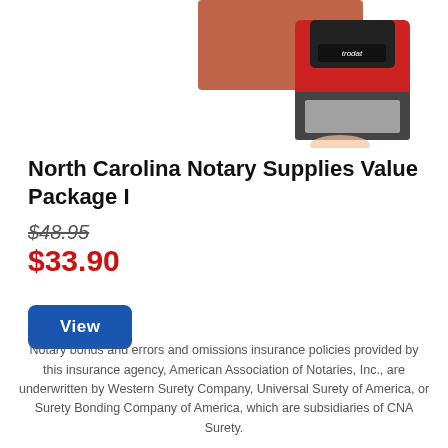[Figure (photo): Product photo showing a Trodat self-inking notary stamp with red housing and black base, held by a hand, alongside a reddish-brown rectangular item suggesting a notary record book.]
North Carolina Notary Supplies Value Package I
$48.95
$33.90
View
Notary bonds and errors and omissions insurance policies provided by this insurance agency, American Association of Notaries, Inc., are underwritten by Western Surety Company, Universal Surety of America, or Surety Bonding Company of America, which are subsidiaries of CNA Surety.